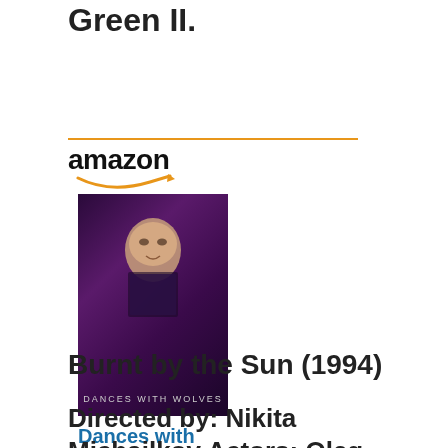Costner, Mary McDonnell, Graham Green II.
[Figure (other): Amazon advertisement showing a movie listing for 'Dances with Wolves' priced at $3.99 with a Shop now button]
Burnt by the Sun (1994)
Directed by: Nikita Michailkov Actors: Oleg Menshikov, Nikita Michailkov,